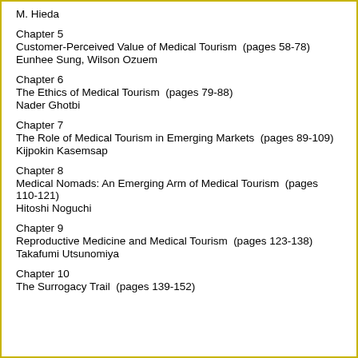M. Hieda
Chapter 5
Customer-Perceived Value of Medical Tourism (pages 58-78)
Eunhee Sung, Wilson Ozuem
Chapter 6
The Ethics of Medical Tourism (pages 79-88)
Nader Ghotbi
Chapter 7
The Role of Medical Tourism in Emerging Markets (pages 89-109)
Kijpokin Kasemsap
Chapter 8
Medical Nomads: An Emerging Arm of Medical Tourism (pages 110-121)
Hitoshi Noguchi
Chapter 9
Reproductive Medicine and Medical Tourism (pages 123-138)
Takafumi Utsunomiya
Chapter 10
The Surrogacy Trail (pages 139-152)